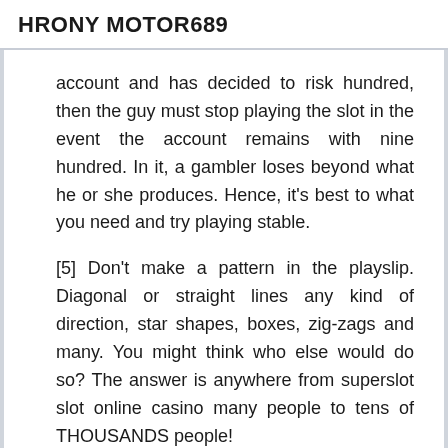HRONY MOTOR689
account and has decided to risk hundred, then the guy must stop playing the slot in the event the account remains with nine hundred. In it, a gambler loses beyond what he or she produces. Hence, it's best to what you need and try playing stable.
[5] Don't make a pattern in the playslip. Diagonal or straight lines any kind of direction, star shapes, boxes, zig-zags and many. You might think who else would do so? The answer is anywhere from superslot slot online casino many people to tens of THOUSANDS people!
The maximum amount of revenue is generated from your casinos with these slot models. You need not